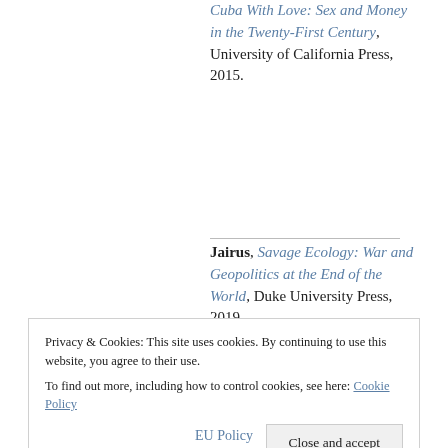Cuba With Love: Sex and Money in the Twenty-First Century, University of California Press, 2015.
Jairus, Savage Ecology: War and Geopolitics at the End of the World, Duke University Press, 2019.
Privacy & Cookies: This site uses cookies. By continuing to use this website, you agree to their use. To find out more, including how to control cookies, see here: Cookie Policy
Close and accept
EU Policy